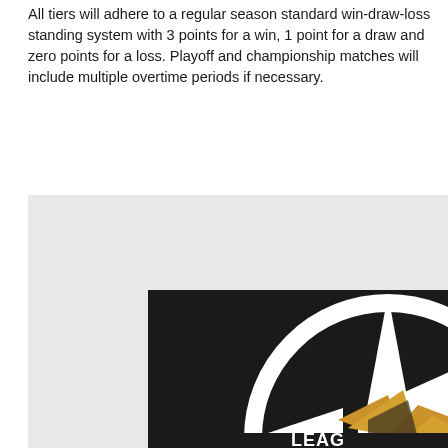All tiers will adhere to a regular season standard win-draw-loss standing system with 3 points for a win, 1 point for a draw and zero points for a loss. Playoff and championship matches will include multiple overtime periods if necessary.
[Figure (logo): Super League logo on dark background — a star/compass-like emblem with gold/amber wing shapes in the center, white circular arc, and text reading 'SUP' (partially cropped) and 'LEAG' (partially cropped) in bold black letters. Number '19' visible near lower-center of the star.]